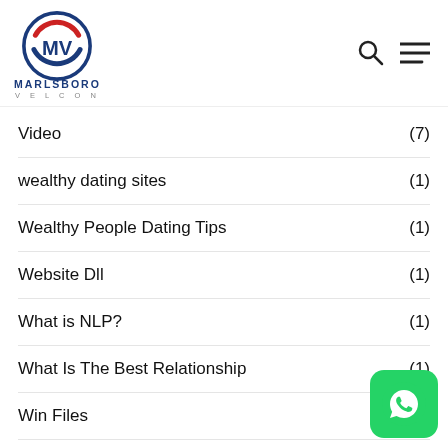[Figure (logo): Marlsboro Velcon logo with circular emblem in red and blue, company name below]
Video (7)
wealthy dating sites (1)
Wealthy People Dating Tips (1)
Website Dll (1)
What is NLP? (1)
What Is The Best Relationship (1)
Win Files (1)
Windows 11 -järjestelmä (1)
[Figure (logo): WhatsApp icon button, green rounded square with white phone handset inside speech bubble]